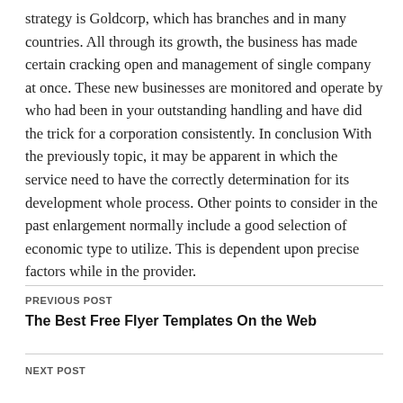strategy is Goldcorp, which has branches and in many countries. All through its growth, the business has made certain cracking open and management of single company at once. These new businesses are monitored and operate by who had been in your outstanding handling and have did the trick for a corporation consistently. In conclusion With the previously topic, it may be apparent in which the service need to have the correctly determination for its development whole process. Other points to consider in the past enlargement normally include a good selection of economic type to utilize. This is dependent upon precise factors while in the provider.
PREVIOUS POST
The Best Free Flyer Templates On the Web
NEXT POST